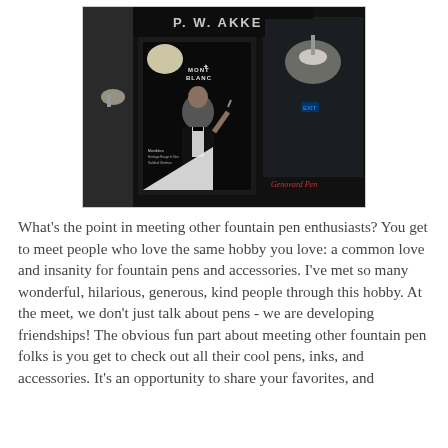[Figure (photo): Photo of a store front with black facade showing 'P.W. AKKER' sign and a Mont Blanc advertisement poster featuring a man in a tuxedo in the window display.]
What's the point in meeting other fountain pen enthusiasts? You get to meet people who love the same hobby you love: a common love and insanity for fountain pens and accessories. I've met so many wonderful, hilarious, generous, kind people through this hobby. At the meet, we don't just talk about pens - we are developing friendships! The obvious fun part about meeting other fountain pen folks is you get to check out all their cool pens, inks, and accessories. It's an opportunity to share your favorites, and